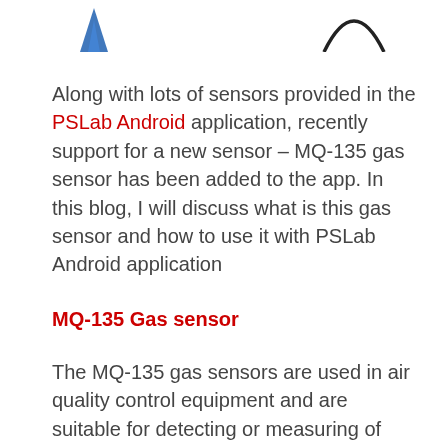[Figure (logo): Partial logo images visible at the top of the page - left side shows a blue diamond/chevron shape and right side shows a curved line shape]
Along with lots of sensors provided in the PSLab Android application, recently support for a new sensor – MQ-135 gas sensor has been added to the app. In this blog, I will discuss what is this gas sensor and how to use it with PSLab Android application
MQ-135 Gas sensor
The MQ-135 gas sensors are used in air quality control equipment and are suitable for detecting or measuring of